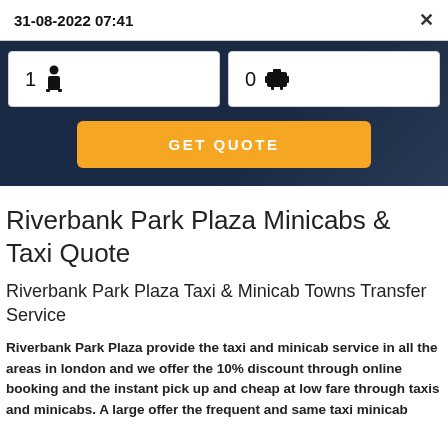31-08-2022 07:41
[Figure (screenshot): Booking form UI with passenger count (1 person icon) and luggage count (0 luggage icon) inputs, and an orange GET QUOTE button]
Riverbank Park Plaza Minicabs & Taxi Quote
Riverbank Park Plaza Taxi & Minicab Towns Transfer Service
Riverbank Park Plaza provide the taxi and minicab service in all the areas in london and we offer the 10% discount through online booking and the instant pick up and cheap at low fare through taxis and minicabs. A large offer the frequent and same taxi minicab...